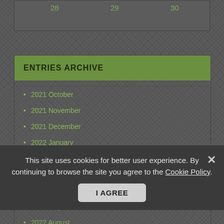| 28 | 29 | 30 |
ENTRIES ARCHIVE
2021 October
2021 November
2021 December
2022 January
2022 February
2022 March
2022 April
2022 May
2022 August
This site uses cookies for better user experience. By continuing to browse the site you agree to the Cookie Policy.
I AGREE